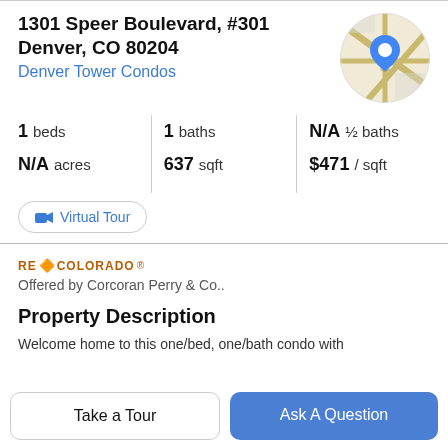1301 Speer Boulevard, #301
Denver, CO 80204
Denver Tower Condos
[Figure (map): Circular map thumbnail showing street map with a blue location pin marker]
1 beds | 1 baths | N/A ½ baths | N/A acres | 637 sqft | $471 / sqft
Virtual Tour
RE/COLORADO
Offered by Corcoran Perry & Co..
Property Description
Welcome home to this one/bed, one/bath condo with
Take a Tour
Ask A Question